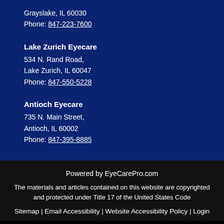Grayslake, IL 60030
Phone: 847-223-7600
Lake Zurich Eyecare
534 N. Rand Road,
Lake Zurich, IL 60047
Phone: 847-550-5228
Antioch Eyecare
735 N. Main Street,
Antioch, IL 60002
Phone: 847-395-8885
Powered by EyeCarePro.com
The materials and articles contained on this website are copyrighted and protected under Title 17 of the United States Code
Sitemap | Email Accessibility | Website Accessibility Policy | Login